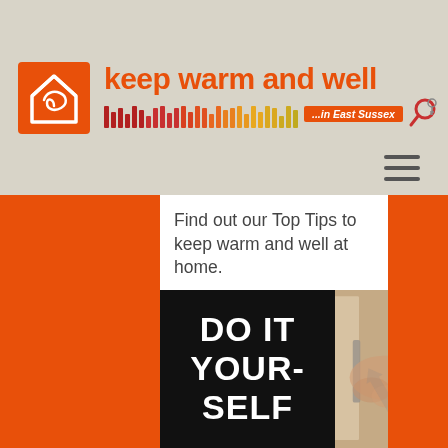[Figure (logo): Keep Warm and Well in East Sussex logo with orange house icon and colored barcode strips]
[Figure (other): Hamburger menu icon (three horizontal dark lines)]
Find out our Top Tips to keep warm and well at home.
[Figure (photo): Two photos side by side: left is a black sign with white text reading DO IT YOURSELF; right is a close-up photo of hands applying weatherstrip/draught excluder to a window frame]